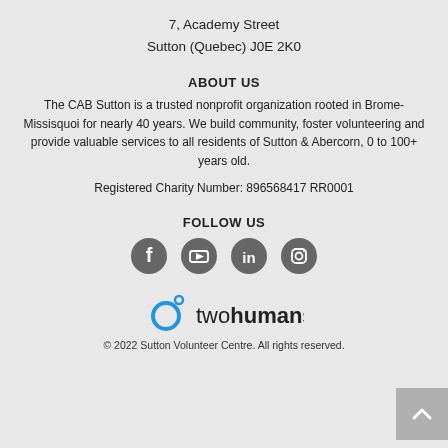7, Academy Street
Sutton (Quebec) J0E 2K0
ABOUT US
The CAB Sutton is a trusted nonprofit organization rooted in Brome-Missisquoi for nearly 40 years. We build community, foster volunteering and provide valuable services to all residents of Sutton & Abercorn, 0 to 100+ years old.
Registered Charity Number: 896568417 RR0001
FOLLOW US
[Figure (other): Four social media icons: Facebook, YouTube, LinkedIn, Instagram]
[Figure (logo): twohumans logo with circular icon and text 'twohumans']
© 2022 Sutton Volunteer Centre. All rights reserved.